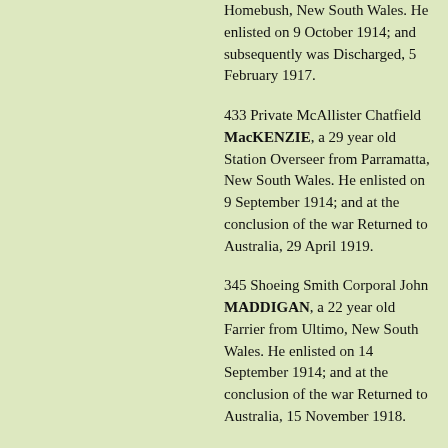Homebush, New South Wales. He enlisted on 9 October 1914; and subsequently was Discharged, 5 February 1917.
433 Private McAllister Chatfield MacKENZIE, a 29 year old Station Overseer from Parramatta, New South Wales. He enlisted on 9 September 1914; and at the conclusion of the war Returned to Australia, 29 April 1919.
345 Shoeing Smith Corporal John MADDIGAN, a 22 year old Farrier from Ultimo, New South Wales. He enlisted on 14 September 1914; and at the conclusion of the war Returned to Australia, 15 November 1918.
340 Squadron Sergeant Major Frank Howard MARKS, a 32 year old Dentist from Mudgee, New South Wales. He enlisted on 17 September 1914; and at the conclusion of the war Returned to Australia, 15 November 1918.